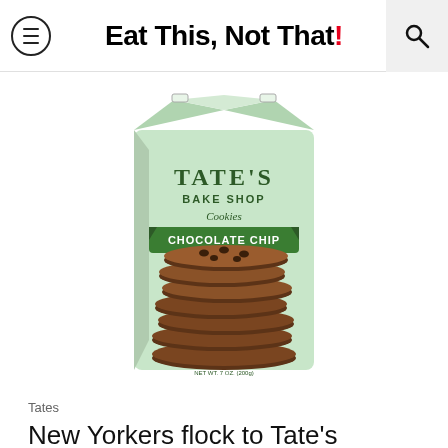Eat This, Not That!
[Figure (photo): A bag of Tate's Bake Shop Chocolate Chip Cookies (All Natural) — light green packaging with a stack of chocolate chip cookies pictured on the bag.]
Tates
New Yorkers flock to Tate's charming